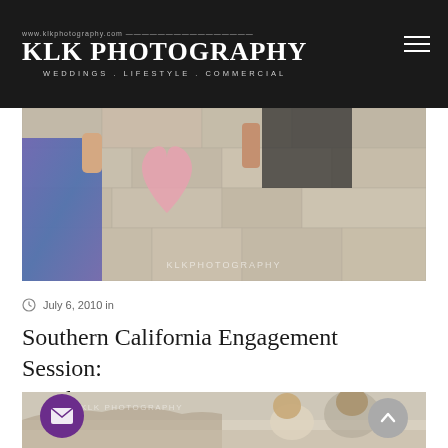KLK PHOTOGRAPHY · WEDDINGS. LIFESTYLE. COMMERCIAL · www.klkphotography.com
[Figure (photo): Couple holding a pink paper heart against a stone wall background. Woman in blue iridescent dress on left, man in dark suit on right. KLK PHOTOGRAPHY watermark at bottom center.]
July 6, 2010 in
Southern California Engagement Session: Frankie & Leti
[Figure (photo): Couple at a beach location. Woman with long hair smiling, man nuzzling her from behind. Sepia/vintage tone. KLK PHOTOGRAPHY watermark visible.]